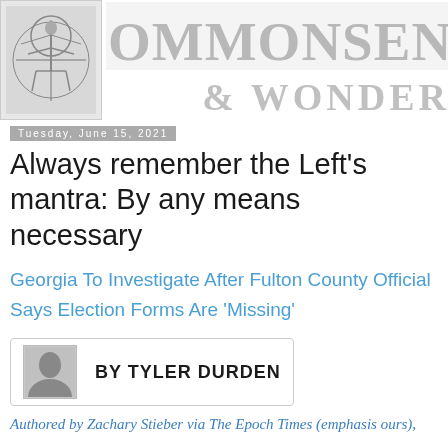COMMONSENSE & WONDER
Tuesday, June 15, 2021
Always remember the Left's mantra: By any means necessary
Georgia To Investigate After Fulton County Official Says Election Forms Are 'Missing'
BY TYLER DURDEN
Authored by Zachary Stieber via The Epoch Times (emphasis ours),